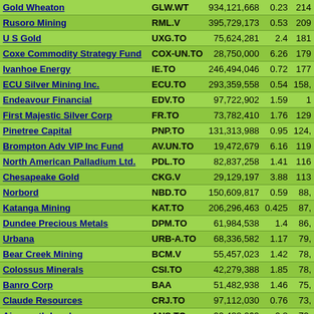| Company | Ticker | Shares | Price | Value |
| --- | --- | --- | --- | --- |
| Gold Wheaton | GLW.WT | 934,121,668 | 0.23 | 214 |
| Rusoro Mining | RML.V | 395,729,173 | 0.53 | 209 |
| U S Gold | UXG.TO | 75,624,281 | 2.4 | 181 |
| Coxe Commodity Strategy Fund | COX-UN.TO | 28,750,000 | 6.26 | 179 |
| Ivanhoe Energy | IE.TO | 246,494,046 | 0.72 | 177 |
| ECU Silver Mining Inc. | ECU.TO | 293,359,558 | 0.54 | 158, |
| Endeavour Financial | EDV.TO | 97,722,902 | 1.59 | 1 |
| First Majestic Silver Corp | FR.TO | 73,782,410 | 1.76 | 129 |
| Pinetree Capital | PNP.TO | 131,313,988 | 0.95 | 124, |
| Brompton Adv VIP Inc Fund | AV.UN.TO | 19,472,679 | 6.16 | 119 |
| North American Palladium Ltd. | PDL.TO | 82,837,258 | 1.41 | 116 |
| Chesapeake Gold | CKG.V | 29,129,197 | 3.88 | 113 |
| Norbord | NBD.TO | 150,609,817 | 0.59 | 88, |
| Katanga Mining | KAT.TO | 206,296,463 | 0.425 | 87, |
| Dundee Precious Metals | DPM.TO | 61,984,538 | 1.4 | 86, |
| Urbana | URB-A.TO | 68,336,582 | 1.17 | 79, |
| Bear Creek Mining | BCM.V | 55,457,023 | 1.42 | 78, |
| Colossus Minerals | CSI.TO | 42,279,388 | 1.85 | 78, |
| Banro Corp | BAA | 51,482,938 | 1.46 | 75, |
| Claude Resources | CRJ.TO | 97,112,030 | 0.76 | 73, |
| Ainsworth Lumber | ANS.TO | 90,488,069 | 0.8 | 72, |
| Western Canada Coal | WTN.TO | 166,684,581 | 0.43 | 71, |
| Sprott Molybdenum Part. Corp. | MLY.TO | 44,488,312 | 1.6 | 71, |
| Front Street Resource Perf. Fund | FRE.TO | 16,085,779 | 4.2 | 67, |
| Sentry Select Primary Metals | PME.TO | 17,167,000 | 3.8 | 65, |
| Polaris Minerals | PLS.TO | 53,204,602 | 1.21 | 64, |
| Brompton Oil & Gas Inc Fund | OGF.UN.TO | 21,770,390 | 2.85 | 62, |
| Tembec | TMB.TO | 100,000,000 | 0.62 | 62, |
| CC&L Global Financials Fund II | GFT-UN.TO | 15,338,882 | 3.85 | 59, |
| DPF India Opportunities Fund | DPF-UN.TO | 24,703,000 | 2.39 | 59 |